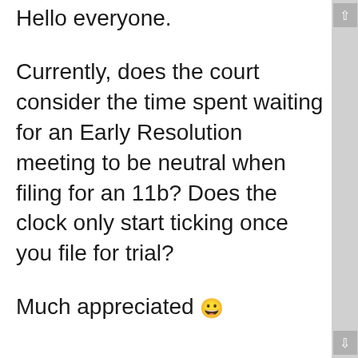Hello everyone.
Currently, does the court consider the time spent waiting for an Early Resolution meeting to be neutral when filing for an 11b? Does the clock only start ticking once you file for trial?
Much appreciated 😀